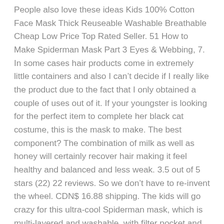People also love these ideas Kids 100% Cotton Face Mask Thick Reuseable Washable Breathable Cheap Low Price Top Rated Seller. 51 How to Make Spiderman Mask Part 3 Eyes & Webbing, 7. In some cases hair products come in extremely little containers and also I can't decide if I really like the product due to the fact that I only obtained a couple of uses out of it. If your youngster is looking for the perfect item to complete her black cat costume, this is the mask to make. The best component? The combination of milk as well as honey will certainly recover hair making it feel healthy and balanced and less weak. 3.5 out of 5 stars (22) 22 reviews. So we don't have to re-invent the wheel. CDN$ 16.88 shipping. The kids will go crazy for this ultra-cool Spiderman mask, which is multi-layered and washable, with filter pocket and nose wire. you can also use eva foam to make this. “Nutritional yeast is likewise superb for treating acne, as it’s abundant in B-vitamins that assist calm the skin barrier, particularly if you’re bursting out around your duration.”. Fashioning the Classic Bodysuit Start with a long-sleeved blue shirt and a pair of blue sweatpants.